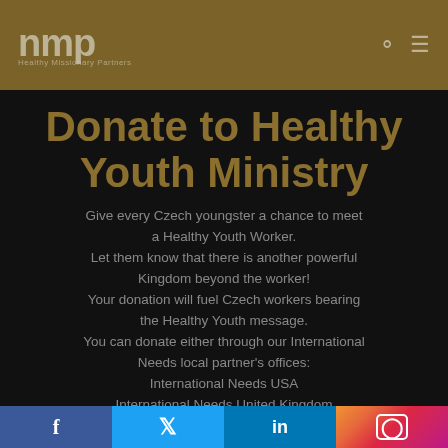nmp — Healthy Missionary Partners
Donate to Healthy Youth Ministry
Give every Czech youngster a chance to meet a Healthy Youth Worker.
Let them know that there is another powerful Kingdom beyond the worker!
Your donation will fuel Czech workers bearing the Healthy Youth message.
You can donate either through our International Needs local partner's offices:
International Needs USA
International Needs United Kingdom
International Needs New Zealand
Facebook | Twitter | LinkedIn | Instagram